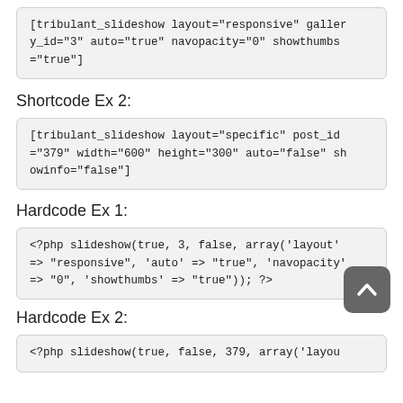[tribulant_slideshow layout="responsive" gallery_id="3" auto="true" navopacity="0" showthumbs="true"]
Shortcode Ex 2:
[tribulant_slideshow layout="specific" post_id="379" width="600" height="300" auto="false" showinfo="false"]
Hardcode Ex 1:
<?php slideshow(true, 3, false, array('layout' => "responsive", 'auto' => "true", 'navopacity' => "0", 'showthumbs' => "true")); ?>
Hardcode Ex 2:
<?php slideshow(true, false, 379, array('layou